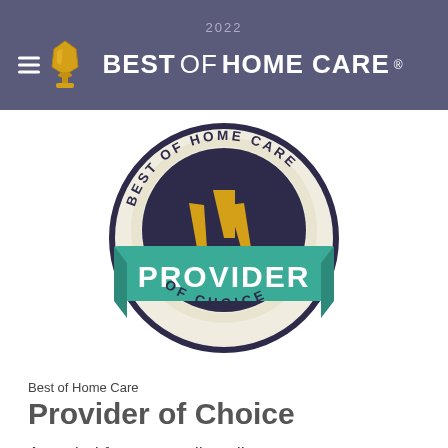2022 BEST OF HOME CARE®
[Figure (logo): Best of Home Care - Provider of Choice 2022 circular badge/seal. Features a circular emblem with 'BEST OF HOME CARE' text around the top arc and 'OF CHOICE' around the bottom arc. Three gold trophy/flame shapes in the center on a dark navy background. A teal/green banner across the middle reads 'PROVIDER' in large white bold text.]
Best of Home Care
Provider of Choice
Awarded for outstanding client...